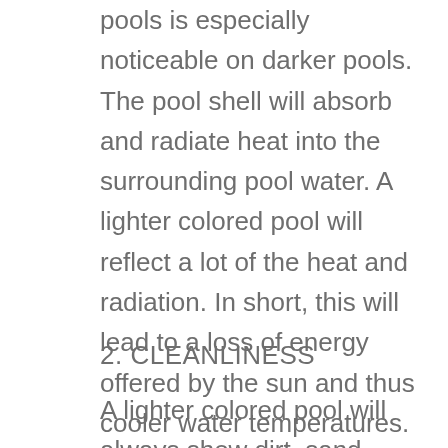pools is especially noticeable on darker pools. The pool shell will absorb and radiate heat into the surrounding pool water. A lighter colored pool will reflect a lot of the heat and radiation. In short, this will lead to a loss of energy offered by the sun and thus cooler water temperatures. Just like the difference between a white and a black automobile. I'm sure each of you can identify with this analogy.
2. CLEANLINESS
A lighter colored pool will always show dirt, sand, and debris on the pool floor